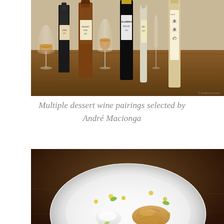[Figure (photo): Photo of multiple wine bottles and glasses on a wooden table, including a bottle with Japanese characters (未来の), a tall narrow bottle, and wine glasses with amber/rosé colored wine.]
Multiple dessert wine pairings selected by André Macionga
[Figure (photo): Photo of a white ceramic bowl on a dark wooden table containing a plated dessert: a white sorbet/ice cream quenelle, a golden crispy pastry mound, and small dots/drops of yellow-green sauce scattered around the plate.]